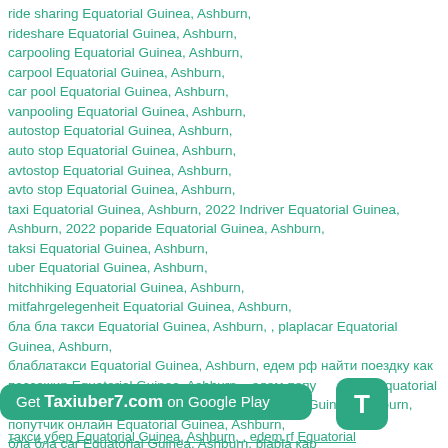ride sharing Equatorial Guinea, Ashburn,
rideshare Equatorial Guinea, Ashburn,
carpooling Equatorial Guinea, Ashburn,
carpool Equatorial Guinea, Ashburn,
car pool Equatorial Guinea, Ashburn,
vanpooling Equatorial Guinea, Ashburn,
autostop Equatorial Guinea, Ashburn,
auto stop Equatorial Guinea, Ashburn,
avtostop Equatorial Guinea, Ashburn,
avto stop Equatorial Guinea, Ashburn,
taxi Equatorial Guinea, Ashburn, 2022 Indriver Equatorial Guinea, Ashburn, 2022 poparide Equatorial Guinea, Ashburn,
taksi Equatorial Guinea, Ashburn,
uber Equatorial Guinea, Ashburn,
hitchhiking Equatorial Guinea, Ashburn,
mitfahrgelegenheit Equatorial Guinea, Ashburn,
бла бла такси Equatorial Guinea, Ashburn, , plaplacar Equatorial Guinea, Ashburn,
блаблатакси Equatorial Guinea, Ashburn, едем рф найти поездку как пассажир Equatorial Guinea, Ashburn, , едем попу в Equatorial Guinea, Ashburn, , едем попутчики из Equatorial Guinea, Ashburn, попутчик онлайн Equatorial Guinea, Ashburn,
бла бла car Equatorial Guinea, Ashburn, blabla кар
Get Taxiuber7.com on Google Play
такси убер Equatorial Guinea, Ashburn, , edem.rf Equatorial